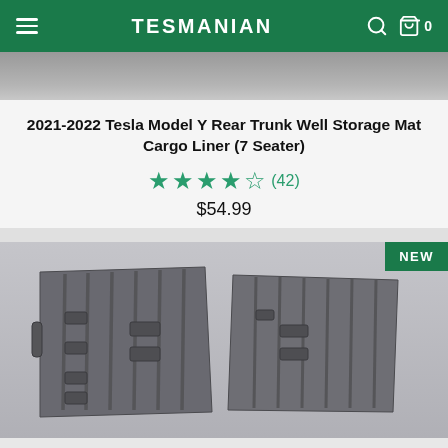TESMANIAN
2021-2022 Tesla Model Y Rear Trunk Well Storage Mat Cargo Liner (7 Seater)
★★★★★ (42) $54.99
[Figure (photo): Two black rubber Tesla Model Y rear trunk well storage mat cargo liners shown side by side on a gray background, with a green NEW badge in the top-right corner.]